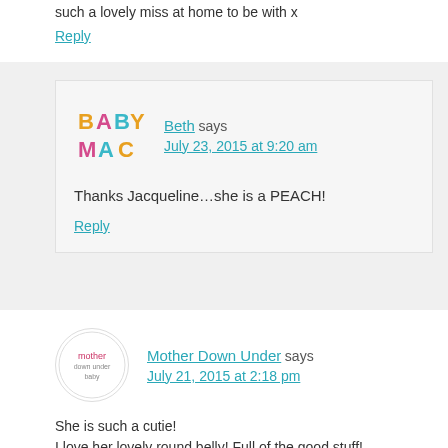such a lovely miss at home to be with x
Reply
Beth says July 23, 2015 at 9:20 am
Thanks Jacqueline…she is a PEACH!
Reply
Mother Down Under says July 21, 2015 at 2:18 pm
She is such a cutie!
I love her lovely round belly! Full of the good stuff!